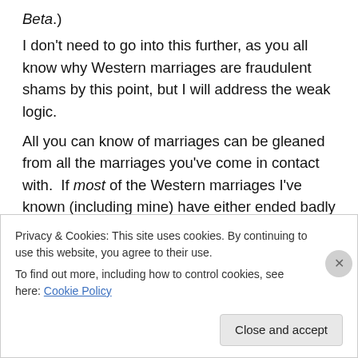Beta.) I don't need to go into this further, as you all know why Western marriages are fraudulent shams by this point, but I will address the weak logic. All you can know of marriages can be gleaned from all the marriages you've come in contact with. If most of the Western marriages I've known (including mine) have either ended badly or are in poor shape (They are.), then that supports my personal claim that the majority of them are shams. I don't have to know every single Western marriage to make that call – it's locally true. And
Privacy & Cookies: This site uses cookies. By continuing to use this website, you agree to their use.
To find out more, including how to control cookies, see here: Cookie Policy